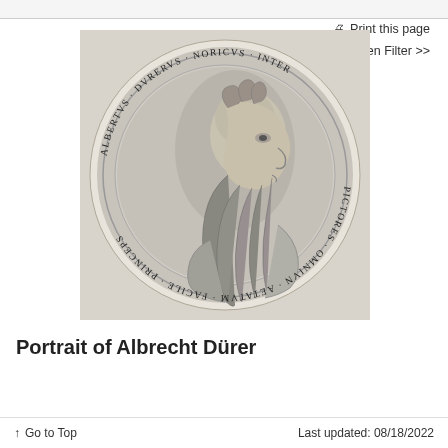🖨 Print this page
≡ Open Filter >>
[Figure (illustration): Circular medallion engraving showing a profile portrait of Albrecht Dürer facing right, with long curly beard and fur-trimmed garment. Latin inscription around the border reads: ALBERTVS DVRERVS NORICVS INTER PICTORES OMNIVN AETATVM FACILE PRINCEPS]
Portrait of Albrecht Dürer
↑ Go to Top    Last updated: 08/18/2022